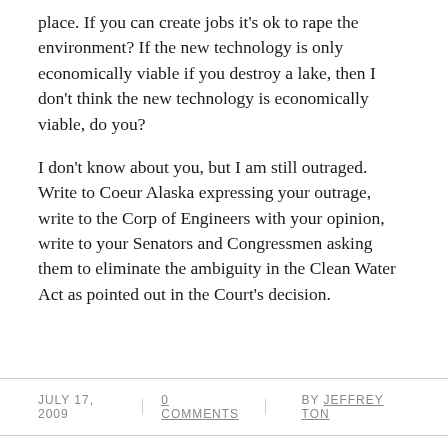place. If you can create jobs it's ok to rape the environment? If the new technology is only economically viable if you destroy a lake, then I don't think the new technology is economically viable, do you?
I don't know about you, but I am still outraged. Write to Coeur Alaska expressing your outrage, write to the Corp of Engineers with your opinion, write to your Senators and Congressmen asking them to eliminate the ambiguity in the Clean Water Act as pointed out in the Court's decision.
JULY 17, 2009 | 0 COMMENTS | BY JEFFREY TON